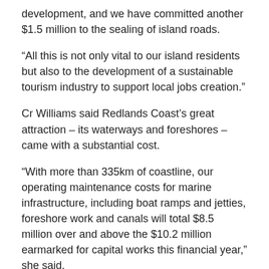development, and we have committed another $1.5 million to the sealing of island roads.
“All this is not only vital to our island residents but also to the development of a sustainable tourism industry to support local jobs creation.”
Cr Williams said Redlands Coast’s great attraction – its waterways and foreshores – came with a substantial cost.
“With more than 335km of coastline, our operating maintenance costs for marine infrastructure, including boat ramps and jetties, foreshore work and canals will total $8.5 million over and above the $10.2 million earmarked for capital works this financial year,” she said.
Cr Williams said Council was also seeking vital infrastructure commitments from the State Government under its Works for Queensland program and the Federal Government under